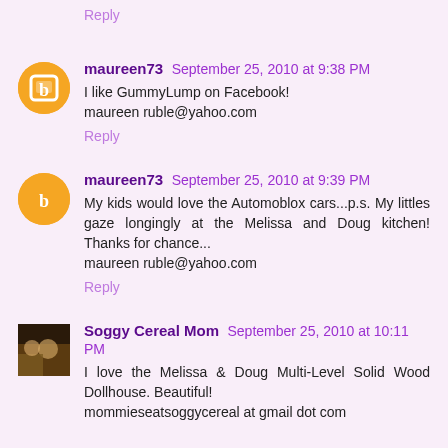Reply
maureen73  September 25, 2010 at 9:38 PM
I like GummyLump on Facebook!
maureenruble@yahoo.com
Reply
maureen73  September 25, 2010 at 9:39 PM
My kids would love the Automoblox cars...p.s. My littles gaze longingly at the Melissa and Doug kitchen! Thanks for chance...
maureenruble@yahoo.com
Reply
Soggy Cereal Mom  September 25, 2010 at 10:11 PM
I love the Melissa & Doug Multi-Level Solid Wood Dollhouse. Beautiful!
mommieseatsoggycereal at gmail dot com